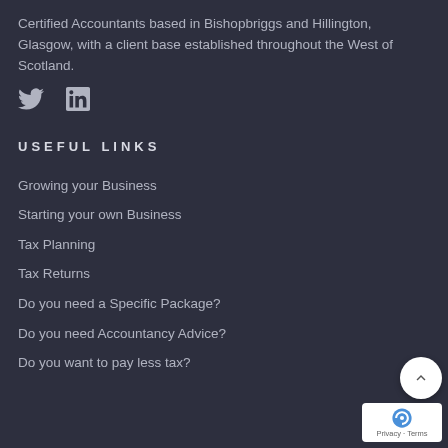Certified Accountants based in Bishopbriggs and Hillington, Glasgow, with a client base established throughout the West of Scotland.
[Figure (illustration): Twitter bird icon and LinkedIn 'in' icon in grey color on dark background]
USEFUL LINKS
Growing your Business
Starting your own Business
Tax Planning
Tax Returns
Do you need a Specific Package?
Do you need Accountancy Advice?
Do you want to pay less tax?
[Figure (illustration): Scroll-to-top circular white button with up chevron, and reCAPTCHA badge with Privacy and Terms text]